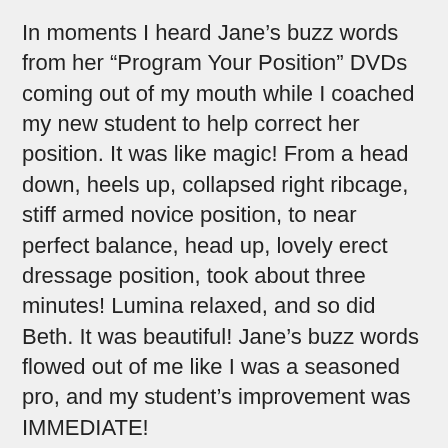In moments I heard Jane’s buzz words from her “Program Your Position” DVDs coming out of my mouth while I coached my new student to help correct her position. It was like magic! From a head down, heels up, collapsed right ribcage, stiff armed novice position, to near perfect balance, head up, lovely erect dressage position, took about three minutes! Lumina relaxed, and so did Beth. It was beautiful! Jane’s buzz words flowed out of me like I was a seasoned pro, and my student’s improvement was IMMEDIATE!
I am SO impressed with this program, and how easy it is to help a rider correct position. From there, anything is possible!